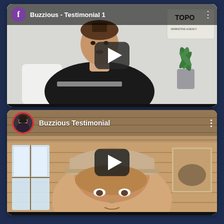[Figure (screenshot): YouTube-style video embed showing a man in a black t-shirt sitting at a desk with a plant in the background. Video title: 'Buzzious - Testimonial 1'. A purple Facebook circle icon appears top-left, with a play button overlay in center.]
[Figure (screenshot): YouTube-style video embed showing a man in a wooden cabin/chalet interior. Video title: 'Buzzious Testimonial'. An avatar with red circle border appears top-left, with a play button overlay in center.]